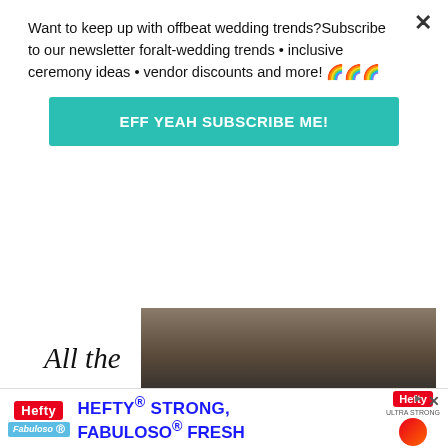Want to keep up with offbeat wedding trends?Subscribe to our newsletter for alt-wedding trends · inclusive ceremony ideas · vendor discounts and more! 🌈🌈🌈
EFF YEAH SUBSCRIBE ME!
[Figure (photo): Partial photo showing a woman's legs in high heels on a dark background, cropped at the top of the page content area]
All the
beautiful belongings
That no one else had looked
Quite far enough to find
I love you because you
Are helping me to make
[Figure (infographic): Hefty Strong, Fabuloso Fresh advertisement banner at the bottom of the page]